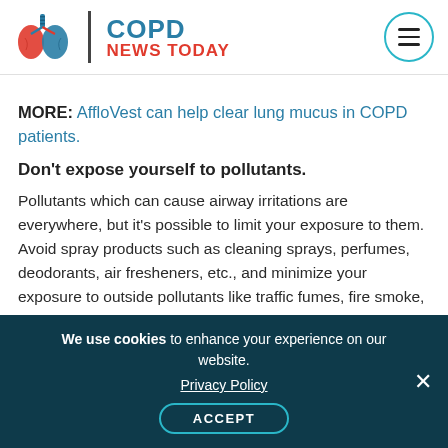[Figure (logo): COPD News Today logo with lung illustration and text]
AffloVest can help clear lung mucus in COPD patients.
Don't expose yourself to pollutants.
Pollutants which can cause airway irritations are everywhere, but it's possible to limit your exposure to them. Avoid spray products such as cleaning sprays, perfumes, deodorants, air fresheners, etc., and minimize your exposure to outside pollutants like traffic fumes, fire smoke, chemical fumes and secondhand tobacco smoke.
We use cookies to enhance your experience on our website. Privacy Policy ACCEPT